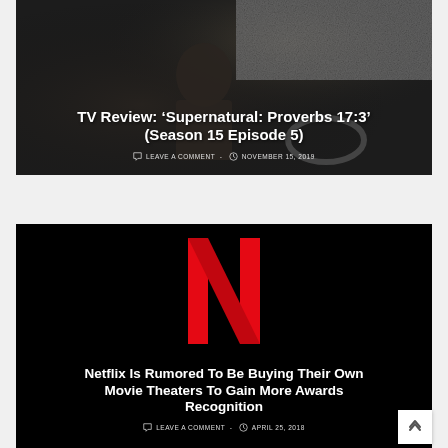[Figure (photo): Dark scene of a person driving a car at night, with rain or snow on the windshield]
TV Review: ‘Supernatural: Proverbs 17:3’ (Season 15 Episode 5)
LEAVE A COMMENT - NOVEMBER 15, 2019
[Figure (logo): Netflix logo (large red N on black background)]
Netflix Is Rumored To Be Buying Their Own Movie Theaters To Gain More Awards Recognition
LEAVE A COMMENT - APRIL 25, 2018